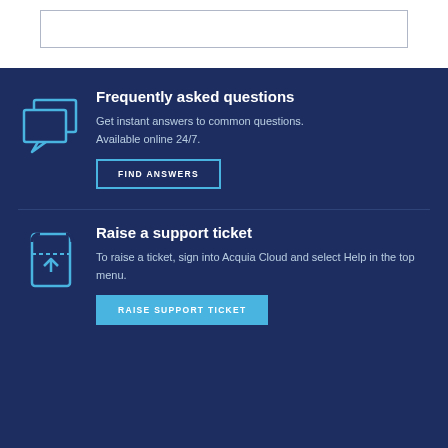[Figure (other): White top section with a bordered rectangle placeholder box]
[Figure (illustration): Chat/speech bubbles icon outline in light blue on dark navy background]
Frequently asked questions
Get instant answers to common questions. Available online 24/7.
FIND ANSWERS
[Figure (illustration): Support ticket/upload icon outline in light blue on dark navy background]
Raise a support ticket
To raise a ticket, sign into Acquia Cloud and select Help in the top menu.
RAISE SUPPORT TICKET